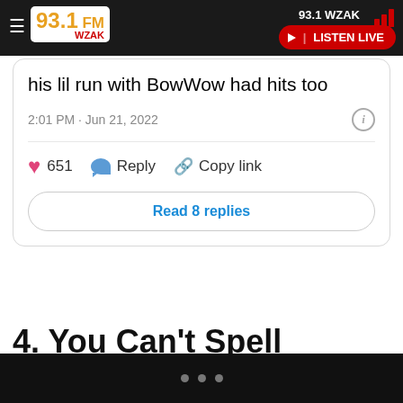93.1 WZAK | LISTEN LIVE
his lil run with BowWow had hits too
2:01 PM · Jun 21, 2022
651  Reply  Copy link
Read 8 replies
4. You Can't Spell Omarion Without Mario
Saanè 🌸